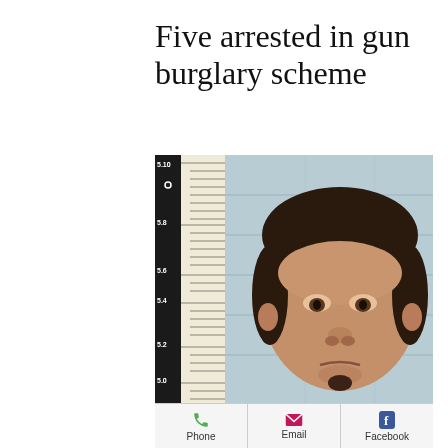Five arrested in gun burglary scheme
[Figure (photo): Mugshot of a man against a light blue cinder block wall with a height measurement ruler visible on the left side showing markings from 5.0 to 5.10]
Phone   Email   Facebook